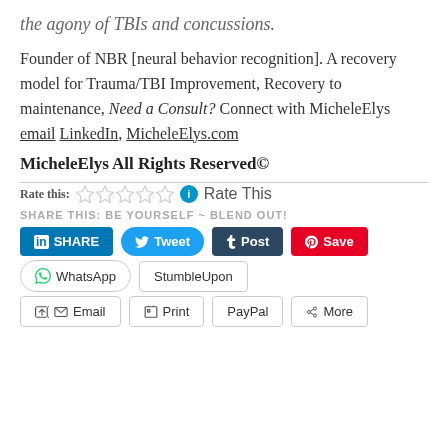the agony of TBIs and concussions.
Founder of NBR [neural behavior recognition]. A recovery model for Trauma/TBI Improvement, Recovery to maintenance, Need a Consult? Connect with MicheleElys email LinkedIn, MicheleElys.com
MicheleElys All Rights Reserved©
Rate this: ☆☆☆☆☆ ℹ Rate This
SHARE THIS: BE YOURSELF ~ BLEND OUT!
SHARE Tweet Post Save WhatsApp StumbleUpon Email Print PayPal More